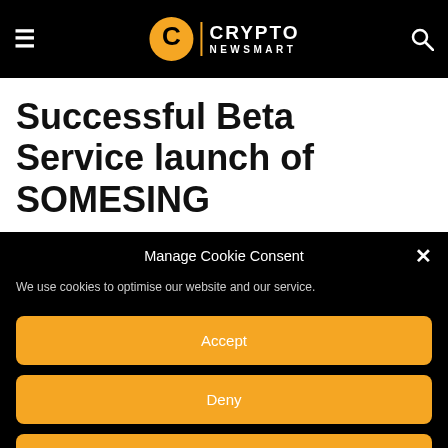Crypto Newsmart
Successful Beta Service launch of SOMESING
Manage Cookie Consent
We use cookies to optimise our website and our service.
Accept
Deny
Preferences